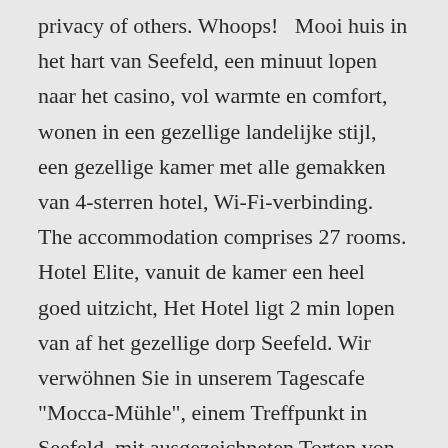privacy of others. Whoops!   Mooi huis in het hart van Seefeld, een minuut lopen naar het casino, vol warmte en comfort, wonen in een gezellige landelijke stijl, een gezellige kamer met alle gemakken van 4-sterren hotel, Wi-Fi-verbinding. The accommodation comprises 27 rooms. Hotel Elite, vanuit de kamer een heel goed uitzicht, Het Hotel ligt 2 min lopen van af het gezellige dorp Seefeld. Wir verwöhnen Sie in unserem Tagescafe "Mocca-Mühle", einem Treffpunkt in Seefeld, mit ausgezeichneten Torten von unserem Konditor und kleinen Speisen. That's how we know our reviews come from real guests who have stayed at the property. To see correct prices and occupancy info, add the number and ages of children in